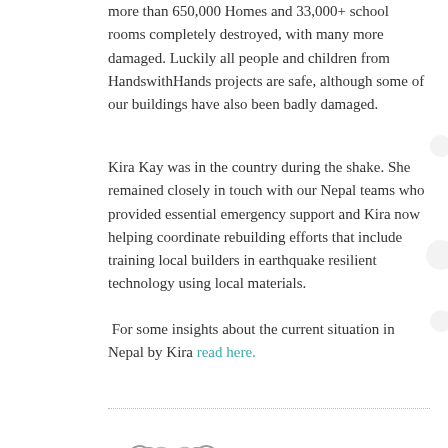more than 650,000 Homes and 33,000+ school rooms completely destroyed, with many more damaged. Luckily all people and children from HandswithHands projects are safe, although some of our buildings have also been badly damaged.
Kira Kay was in the country during the shake. She remained closely in touch with our Nepal teams who provided essential emergency support and Kira now helping coordinate rebuilding efforts that include training local builders in earthquake resilient technology using local materials.
For some insights about the current situation in Nepal by Kira read here.
[Figure (illustration): Hands forming a heart shape, illustrated in pencil/sketch style — the HandswithHands logo]